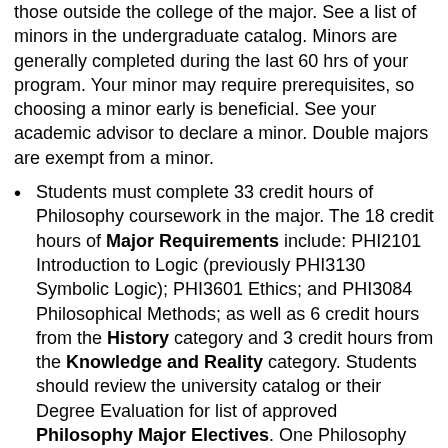those outside the college of the major. See a list of minors in the undergraduate catalog. Minors are generally completed during the last 60 hrs of your program. Your minor may require prerequisites, so choosing a minor early is beneficial. See your academic advisor to declare a minor. Double majors are exempt from a minor.
Students must complete 33 credit hours of Philosophy coursework in the major. The 18 credit hours of Major Requirements include: PHI2101 Introduction to Logic (previously PHI3130 Symbolic Logic); PHI3601 Ethics; and PHI3084 Philosophical Methods; as well as 6 credit hours from the History category and 3 credit hours from the Knowledge and Reality category. Students should review the university catalog or their Degree Evaluation for list of approved Philosophy Major Electives. One Philosophy Major Elective must be taken at the 4000 level. No more than 15 hours of transfer credit may be applied toward this major.
The Suggested Schedule on the left side of the Osprey Map represents an ideal schedule, and may be adjusted to meet the student's needs. The Mile-Markers on the right side of the Map are also ideal markers, focusing on completion of Major Requirements prior to Major Electives and Minor